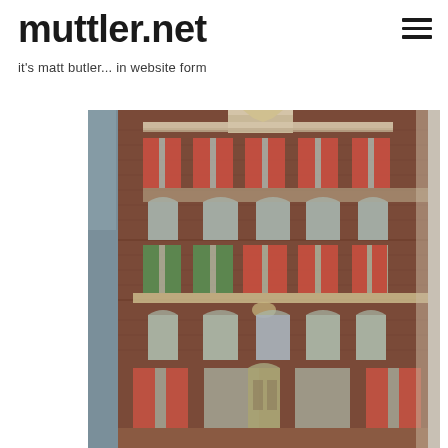muttler.net
it's matt butler... in website form
[Figure (photo): Photograph of a historic Dutch brick building facade with multiple stories, red shutters, arched windows, and ornate architectural details, typical of Amsterdam canal house architecture.]